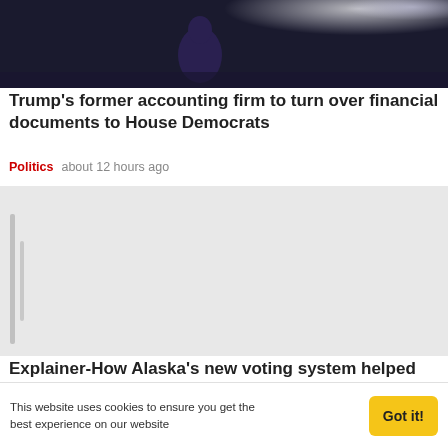[Figure (photo): Dark stage photo of a person in a blue suit with spotlights in the background]
Trump's former accounting firm to turn over financial documents to House Democrats
Politics   about 12 hours ago
[Figure (photo): Placeholder image with gray vertical lines]
Explainer-How Alaska's new voting system helped deliver historic win for U.S. Democrats
Politics   about 12 hours ago
[Figure (photo): Placeholder image with gray vertical lines]
This website uses cookies to ensure you get the best experience on our website